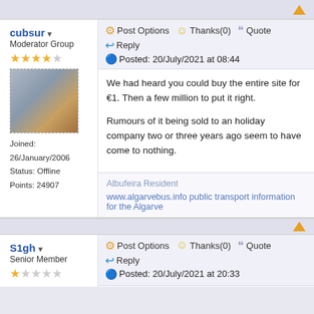cubsur ▾ Moderator Group
[Figure (photo): Avatar photo showing beer glasses/bottles]
Joined: 26/January/2006
Status: Offline
Points: 24907
Post Options  Thanks(0)  Quote
Reply
Posted: 20/July/2021 at 08:44
We had heard you could buy the entire site for €1. Then a few million to put it right.

Rumours of it being sold to an holiday company two or three years ago seem to have come to nothing.
Albufeira Resident
www.algarvebus.info public transport information for the Algarve
S1gh ▾ Senior Member
Post Options  Thanks(0)  Quote
Reply
Posted: 20/July/2021 at 20:33